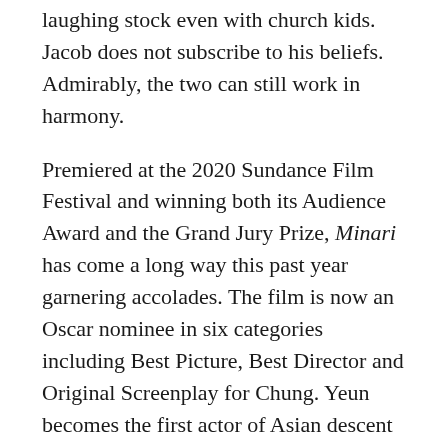laughing stock even with church kids. Jacob does not subscribe to his beliefs. Admirably, the two can still work in harmony.
Premiered at the 2020 Sundance Film Festival and winning both its Audience Award and the Grand Jury Prize, Minari has come a long way this past year garnering accolades. The film is now an Oscar nominee in six categories including Best Picture, Best Director and Original Screenplay for Chung. Yeun becomes the first actor of Asian descent to be nominated for Best Actor. Youn gets a nod for Best Supporting Actress and composer Emile Mosseri for Best Original Score.
Compared to his acclaimed debut feature Munyurangabo (2007), an arthouse, experimental film about two youths in post-genocide Rwanda, Minari is a conventional take on a personal, family story. The compelling dialogue and nuanced biographical